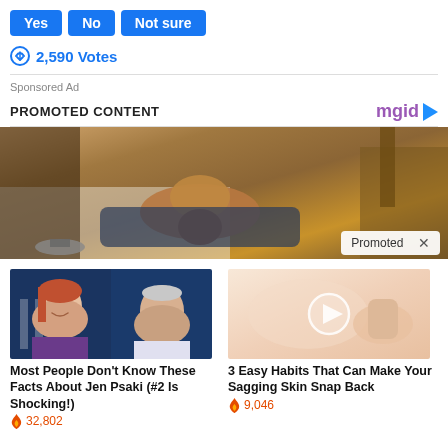Yes  No  Not sure (vote buttons)
2,590 Votes
Sponsored Ad
PROMOTED CONTENT
[Figure (photo): Dog sniffing a person lying on the floor, with a 'Promoted X' badge overlay]
[Figure (photo): Two-panel image: Jen Psaki on the left, Joe Biden on the right]
Most People Don't Know These Facts About Jen Psaki (#2 Is Shocking!)
32,802
[Figure (photo): Close-up of skin with a video play button overlay]
3 Easy Habits That Can Make Your Sagging Skin Snap Back
9,046